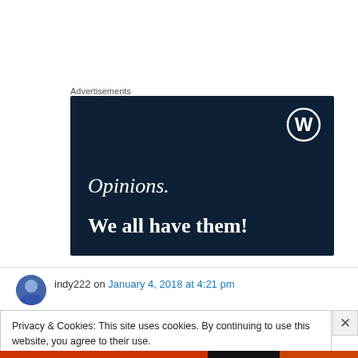Advertisements
[Figure (illustration): WordPress advertisement banner with dark navy background showing WordPress logo (W in circle) at top right, italic text 'Opinions.' and bold text 'We all have them!']
indy222 on January 4, 2018 at 4:21 pm
Privacy & Cookies: This site uses cookies. By continuing to use this website, you agree to their use.
To find out more, including how to control cookies, see here: Cookie Policy
Close and accept